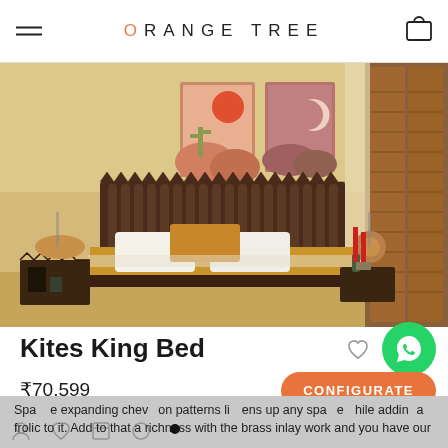ORANGE TREE
[Figure (photo): Bedroom scene showing a king-sized bed with a dark wooden fluted headboard, mustard yellow bedding, white pillows, two hanging pendant lamps, two desert-themed wall art prints, and wooden shuttered windows with warm yellow walls.]
Kites King Bed
₹70,599
CONFIGURATE
Space expanding chevron patterns livens up any space while adding a frolic to it. Add to that a richness with the brass inlay work and you have our